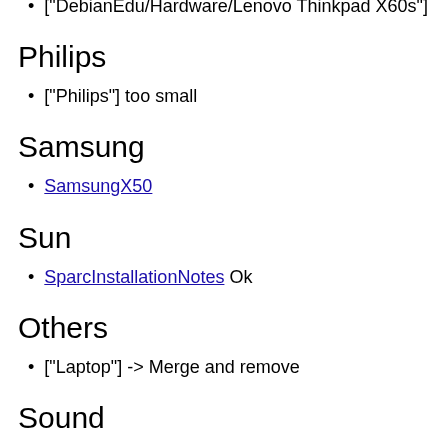["DebianEdu/Hardware/Lenovo Thinkpad X60s"]
Philips
["Philips"] too small
Samsung
SamsungX50
Sun
SparcInstallationNotes Ok
Others
["Laptop"] -> Merge and remove
Sound